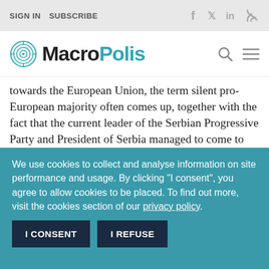SIGN IN   SUBSCRIBE
[Figure (logo): MacroPolis logo with circular maze icon and teal/dark text]
towards the European Union, the term silent pro-European majority often comes up, together with the fact that the current leader of the Serbian Progressive Party and President of Serbia managed to come to power only after he left the nationalist and anti-European Serbian Radical Party and embraced the idea of membership of Serbia in the EU. However, the
We use cookies to collect and analyse information on site performance and usage. By clicking "I consent", you agree to allow cookies to be placed. To find out more, visit the cookies section of our privacy policy.
I CONSENT   I REFUSE